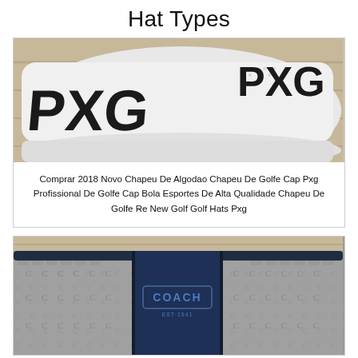Hat Types
[Figure (photo): White PXG golf cap with black logo on a wooden background]
Comprar 2018 Novo Chapeu De Algodao Chapeu De Golfe Cap Pxg Profissional De Golfe Cap Bola Esportes De Alta Qualidade Chapeu De Golfe Re New Golf Golf Hats Pxg
[Figure (photo): Coach branded hat with navy blue stripe and monogram pattern]